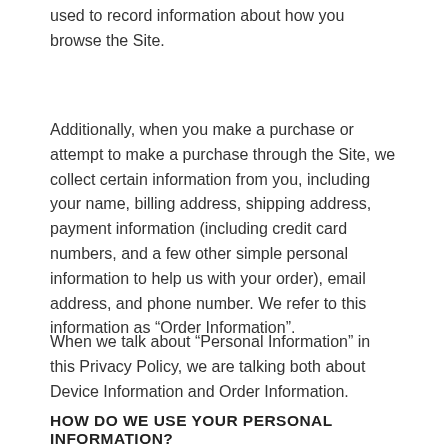used to record information about how you browse the Site.
Additionally, when you make a purchase or attempt to make a purchase through the Site, we collect certain information from you, including your name, billing address, shipping address, payment information (including credit card numbers, and a few other simple personal information to help us with your order), email address, and phone number. We refer to this information as “Order Information”.
When we talk about “Personal Information” in this Privacy Policy, we are talking both about Device Information and Order Information.
HOW DO WE USE YOUR PERSONAL INFORMATION?